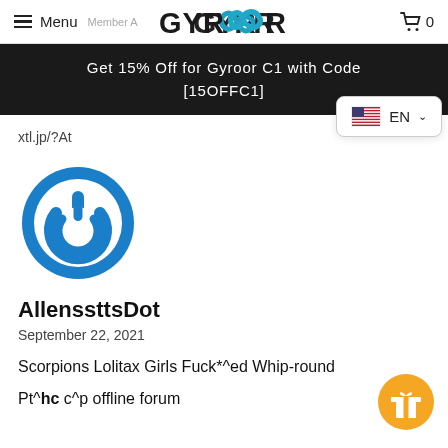Menu  GYROOR  0
Member A
Get 15% Off for Gyroor C1 with Code [15OFFC1]
EN
xtl.jp/?At
[Figure (logo): Blue circular power button logo icon]
AllenssttsDot
September 22, 2021
Scorpions Lolitax Girls Fuck*^ed Whip-round
Pt^hc c^p offline forum
[Figure (illustration): Orange circle gift/reward button icon at bottom right]